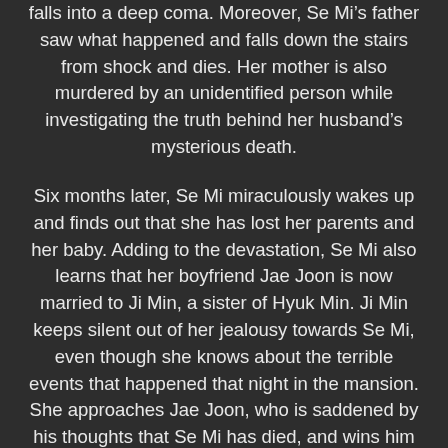falls into a deep coma. Moreover, Se Mi's father saw what happened and falls down the stairs from shock and dies. Her mother is also murdered by an unidentified person while investigating the truth behind her husband's mysterious death.
Six months later, Se Mi miraculously wakes up and finds out that she has lost her parents and her baby. Adding to the devastation, Se Mi also learns that her boyfriend Jae Joon is now married to Ji Min, a sister of Hyuk Min. Ji Min keeps silent out of her jealousy towards Se Mi, even though she knows about the terrible events that happened that night in the mansion. She approaches Jae Joon, who is saddened by his thoughts that Se Mi has died, and wins him over. Meanwhile, Nam Joon is Director of Public Relations for the Taegang Group. He learns that his father, who committed suicide when he was young, met an unjust and because he got involved